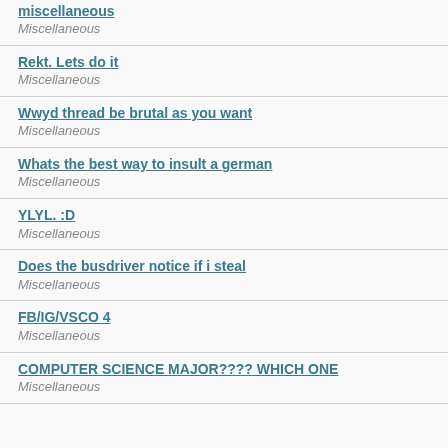miscellaneous
Miscellaneous
Rekt. Lets do it
Miscellaneous
Wwyd thread be brutal as you want
Miscellaneous
Whats the best way to insult a german
Miscellaneous
YLYL. :D
Miscellaneous
Does the busdriver notice if i steal
Miscellaneous
FB/IG/VSCO 4
Miscellaneous
COMPUTER SCIENCE MAJOR???? WHICH ONE
Miscellaneous